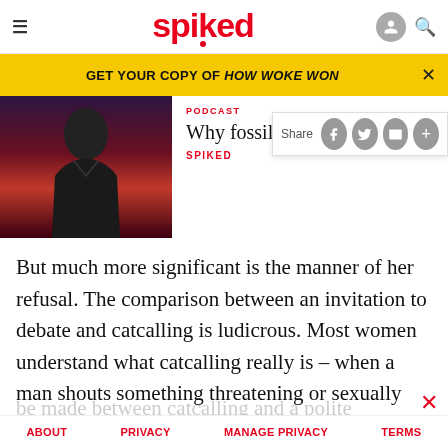spiked
GET YOUR COPY OF HOW WOKE WON
[Figure (photo): Man in dark jacket speaking on stage with red background]
PODCAST
Why fossil fu...
SPIKED
But much more significant is the manner of her refusal. The comparison between an invitation to debate and catcalling is ludicrous. Most women understand what catcalling really is – when a man shouts something threatening or sexually explicit at you on the street. There is simply no comparison to be made between catcalling and a polite request from
ABOUT   PRIVACY   MANAGE PRIVACY   TERMS